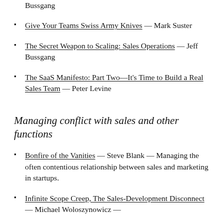Bussgang
Give Your Teams Swiss Army Knives — Mark Suster
The Secret Weapon to Scaling: Sales Operations — Jeff Bussgang
The SaaS Manifesto: Part Two—It’s Time to Build a Real Sales Team — Peter Levine
Managing conflict with sales and other functions
Bonfire of the Vanities — Steve Blank — Managing the often contentious relationship between sales and marketing in startups.
Infinite Scope Creep, The Sales-Development Disconnect — Michael Woloszynowicz —